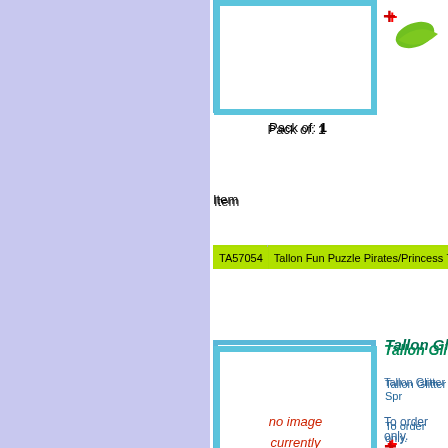[Figure (photo): Product image placeholder with blue border (partially visible at top)]
Pack of: 1
Item
| Item Code | Item Name |
| --- | --- |
| TA57054 | Tallon Fun Puzzle Pirates/Princess 7054 |
Tallon Glitter
[Figure (photo): No image currently available placeholder with blue border]
Tallon Glitter Spr
To order only.
Pack of: 24
Item
| Item Code | Item Name |
| --- | --- |
| TA19296 | Tallon Glitter Spray 6 Colours Mix 9296 |
Tallon Jotter
[Figure (photo): Jotter product image (partially visible at bottom)]